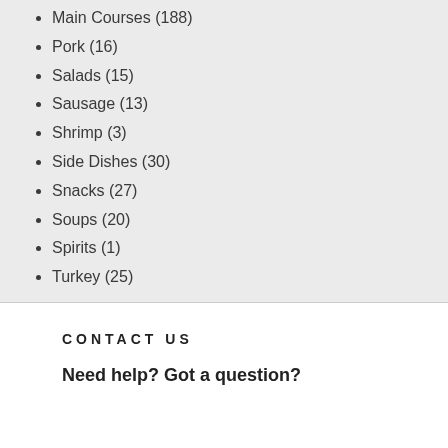Main Courses (188)
Pork (16)
Salads (15)
Sausage (13)
Shrimp (3)
Side Dishes (30)
Snacks (27)
Soups (20)
Spirits (1)
Turkey (25)
CONTACT US
Need help? Got a question?